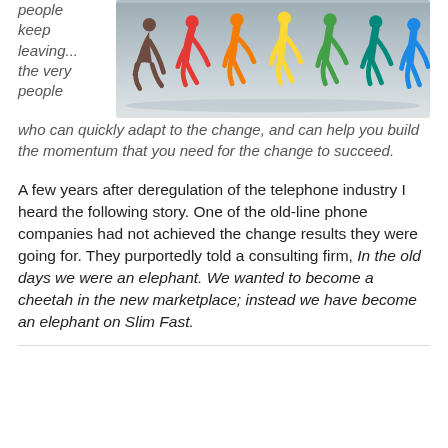people keep leaving... the very people who can quickly adapt to the change, and can help you build the momentum that you need for the change to succeed.
[Figure (photo): Colorful cartoon running figures in a row against a grey gradient background — brown, red, orange, yellow, green, teal, blue.]
A few years after deregulation of the telephone industry I heard the following story. One of the old-line phone companies had not achieved the change results they were going for. They purportedly told a consulting firm, In the old days we were an elephant. We wanted to become a cheetah in the new marketplace; instead we have become an elephant on Slim Fast.